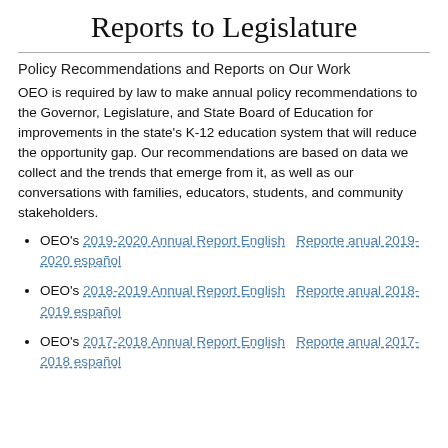Reports to Legislature
Policy Recommendations and Reports on Our Work
OEO is required by law to make annual policy recommendations to the Governor, Legislature, and State Board of Education for improvements in the state's K-12 education system that will reduce the opportunity gap. Our recommendations are based on data we collect and the trends that emerge from it, as well as our conversations with families, educators, students, and community stakeholders.
OEO's 2019-2020 Annual Report English   Reporte anual 2019-2020 español
OEO's 2018-2019 Annual Report English   Reporte anual 2018-2019 español
OEO's 2017-2018 Annual Report English   Reporte anual 2017-2018 español